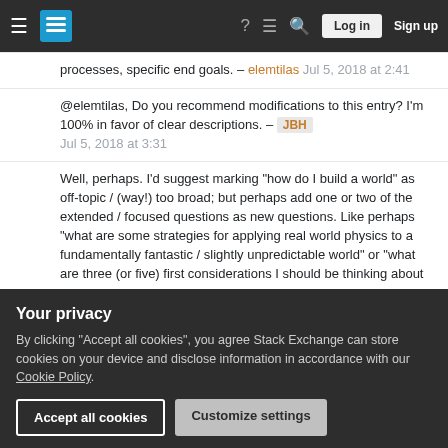Stack Exchange navigation bar with hamburger menu, logo, help, chat, search icons, Log in and Sign up buttons
processes, specific end goals. – elemtilas Jul 5, 2018 at 2:41
@elemtilas, Do you recommend modifications to this entry? I'm 100% in favor of clear descriptions. – JBH Jul 5, 2018 at 3:31
Well, perhaps. I'd suggest marking "how do I build a world" as off-topic / (way!) too broad; but perhaps add one or two of the extended / focused questions as new questions. Like perhaps "what are some strategies for applying real world physics to a fundamentally fantastic / slightly unpredictable world" or "what are three (or five) first considerations I should be thinking about when designing a new world?" and so on.
2018 at 3:54
Your privacy
By clicking "Accept all cookies", you agree Stack Exchange can store cookies on your device and disclose information in accordance with our Cookie Policy.
Accept all cookies
Customize settings